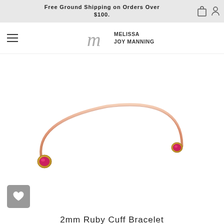Free Ground Shipping on Orders Over $100.
[Figure (logo): Melissa Joy Manning brand logo with stylized M script and text]
[Figure (photo): Rose gold open cuff bracelet with ruby gemstone bezels at each end, photographed on white background]
2mm Ruby Cuff Bracelet